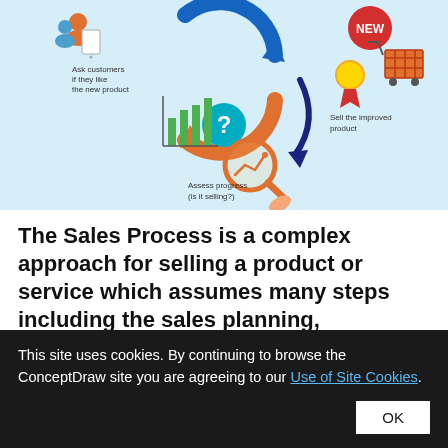[Figure (infographic): Sales process cycle infographic on light blue background showing icons and arrows connecting steps: 'Ask customers if they like the new product', 'Assess progress (is it selling?)', 'Sell the improved product'. Includes icons of people, a question mark, a bar chart with magnifying glass, a shopping cart, a ribbon/medal, and a 'NEW' badge. Circular arrows indicate a cyclical process.]
The Sales Process is a complex approach for selling a product or service which assumes many steps including the sales planning, realization of the sales marketing
This site uses cookies. By continuing to browse the ConceptDraw site you are agreeing to our Use of Site Cookies.